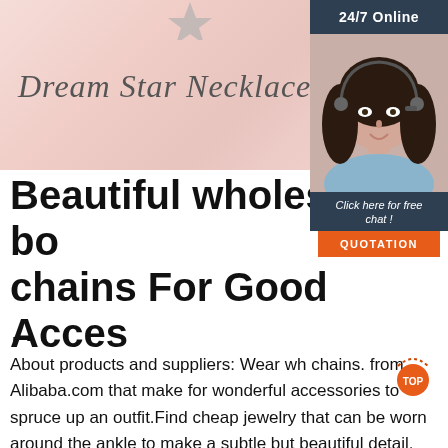[Figure (photo): Pink/peach background banner with cursive text 'Dream Star Necklace' and a partial star charm image at top]
Dream Star Necklace
[Figure (photo): Customer service widget: dark navy background with '24/7 Online' header, photo of a smiling woman with headset, 'Click here for free chat!' text, and orange 'QUOTATION' button]
Beautiful wholesale bo chains For Good Acces
...
About products and suppliers: Wear wh chains. from Alibaba.com that make for wonderful accessories to spruce up an outfit.Find cheap jewelry that can be worn around the ankle to make a subtle but beautiful detail. Stock up on wholesale body chains. for sale a jewelry store or as part of a